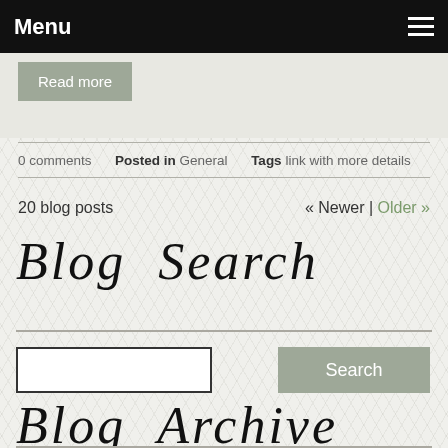Menu
Read more
0 comments   Posted in General   Tags link with more details
20 blog posts   « Newer | Older »
Blog Search
[search input] [Search button]
Blog Archive